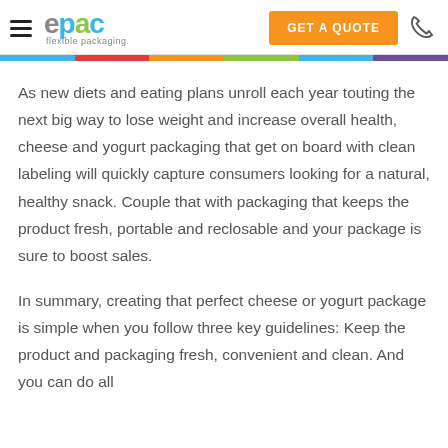epac flexible packaging — GET A QUOTE
As new diets and eating plans unroll each year touting the next big way to lose weight and increase overall health, cheese and yogurt packaging that get on board with clean labeling will quickly capture consumers looking for a natural, healthy snack. Couple that with packaging that keeps the product fresh, portable and reclosable and your package is sure to boost sales.
In summary, creating that perfect cheese or yogurt package is simple when you follow three key guidelines: Keep the product and packaging fresh, convenient and clean. And you can do all